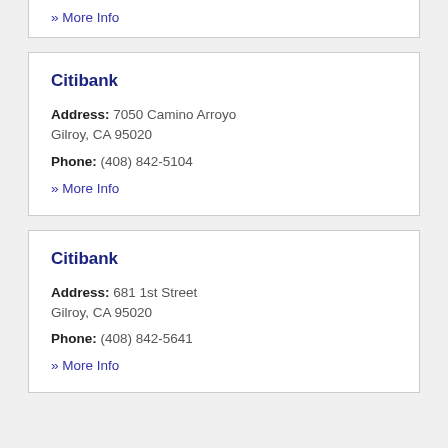» More Info
Citibank
Address: 7050 Camino Arroyo Gilroy, CA 95020
Phone: (408) 842-5104
» More Info
Citibank
Address: 681 1st Street Gilroy, CA 95020
Phone: (408) 842-5641
» More Info